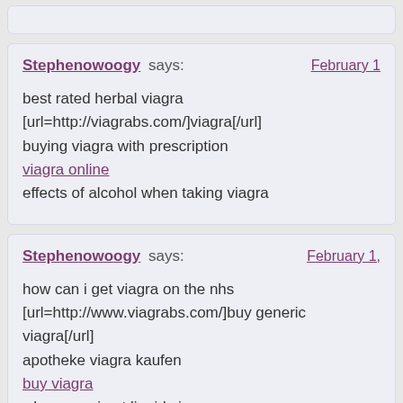Stephenowoogy says: February 1
best rated herbal viagra
[url=http://viagrabs.com/]viagra[/url]
buying viagra with prescription
viagra online
effects of alcohol when taking viagra
Stephenowoogy says: February 1,
how can i get viagra on the nhs
[url=http://www.viagrabs.com/]buy generic viagra[/url]
apotheke viagra kaufen
buy viagra
where can i get liquid viagra